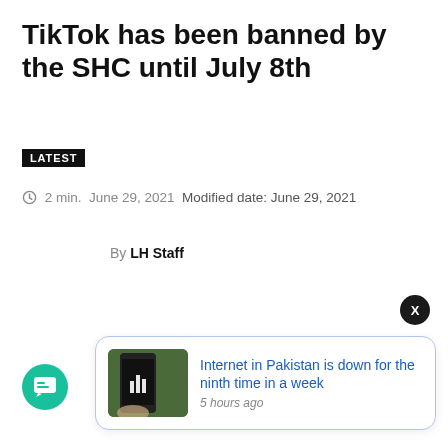TikTok has been banned by the SHC until July 8th
LATEST
2 min.  June 29, 2021  Modified date: June 29, 2021
By LH Staff
[Figure (screenshot): Notification card showing: Internet in Pakistan is down for the ninth time in a week — 5 hours ago, with a thumbnail of a hand holding a phone]
X
[Figure (illustration): Teal circular chat/message button icon in the bottom-left corner]